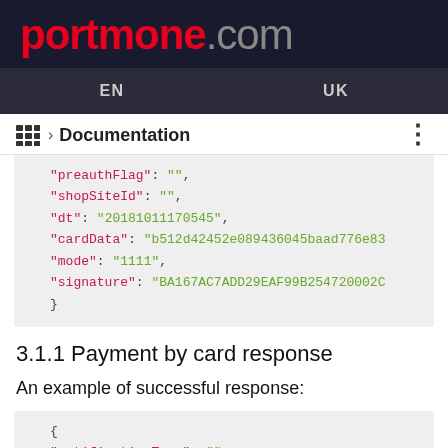portmone.com
EN   UK
≡ › Documentation
"preauthFlag": "",
"shopSiteId": "",
"dt": "20181011170545",
"cardData": "b512d42452e089436045baad776e83
"mode": "1111",
"signature": "BA167AC7ADD29EAF99B254720002C
}
3.1.1 Payment by card response
An example of successful response:
{
"notificationType": "",